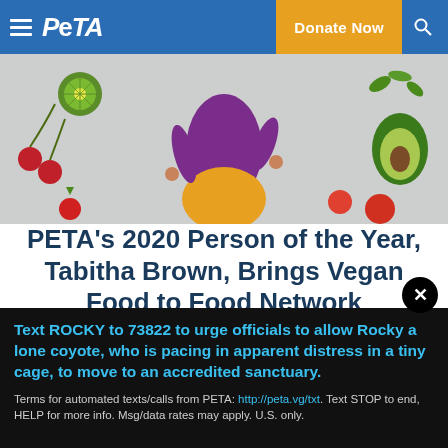PETA | Donate Now
[Figure (photo): Colorful hero image of a person wearing a purple top and yellow skirt surrounded by floating fruits including kiwi, cherries, avocado, and strawberries on a gray background]
PETA's 2020 Person of the Year, Tabitha Brown, Brings Vegan Food to Food Network
© Instagram.com/iamtabithabrown/
Text ROCKY to 73822 to urge officials to allow Rocky a lone coyote, who is pacing in apparent distress in a tiny cage, to move to an accredited sanctuary.
Terms for automated texts/calls from PETA: http://peta.vg/txt. Text STOP to end, HELP for more info. Msg/data rates may apply. U.S. only.